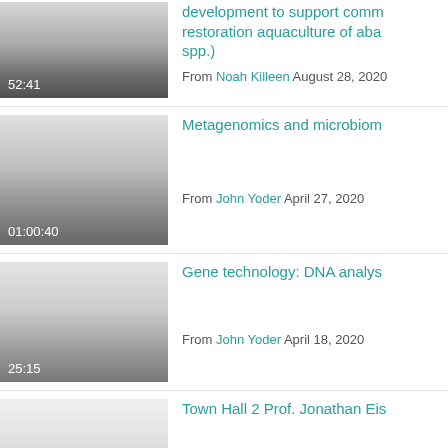[Figure (screenshot): Video thumbnail with gradient gray, duration 52:41]
development to support comm restoration aquaculture of aba spp.)
From Noah Killeen August 28, 2020
[Figure (screenshot): Video thumbnail with gradient gray, duration 01:00:40]
Metagenomics and microbiom
From John Yoder April 27, 2020
[Figure (screenshot): Video thumbnail with gradient gray, duration 25:15]
Gene technology: DNA analys
From John Yoder April 18, 2020
[Figure (screenshot): Video thumbnail light gray, no duration visible]
Town Hall 2 Prof. Jonathan Eis